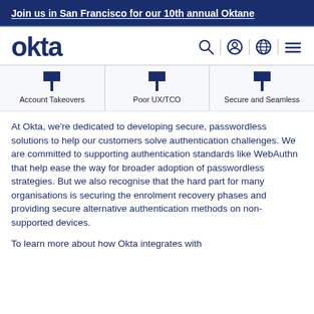Join us in San Francisco for our 10th annual Oktane
[Figure (logo): Okta logo and navigation bar with search, profile, globe, and menu icons]
[Figure (infographic): Three-column diagram with downward arrows labeled: Account Takeovers, Poor UX/TCO, Secure and Seamless]
At Okta, we're dedicated to developing secure, passwordless solutions to help our customers solve authentication challenges. We are committed to supporting authentication standards like WebAuthn that help ease the way for broader adoption of passwordless strategies. But we also recognise that the hard part for many organisations is securing the enrolment recovery phases and providing secure alternative authentication methods on non-supported devices.
To learn more about how Okta integrates with